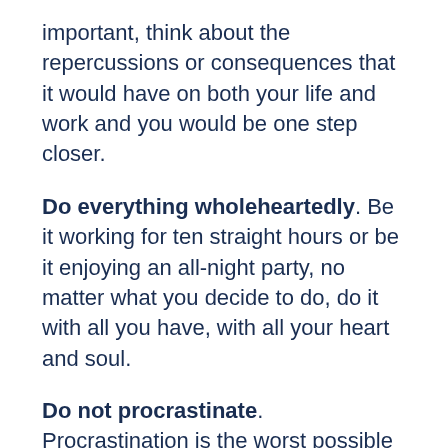important, think about the repercussions or consequences that it would have on both your life and work and you would be one step closer.
Do everything wholeheartedly. Be it working for ten straight hours or be it enjoying an all-night party, no matter what you decide to do, do it with all you have, with all your heart and soul.
Do not procrastinate. Procrastination is the worst possible trait that a grown-up could possess. Your life and work are two wheels of the same car, when you